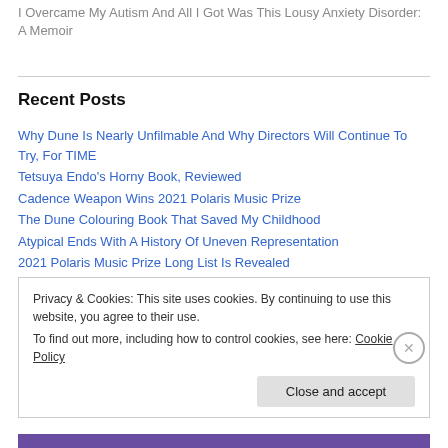I Overcame My Autism And All I Got Was This Lousy Anxiety Disorder: A Memoir
Recent Posts
Why Dune Is Nearly Unfilmable And Why Directors Will Continue To Try, For TIME
Tetsuya Endo's Horny Book, Reviewed
Cadence Weapon Wins 2021 Polaris Music Prize
The Dune Colouring Book That Saved My Childhood
Atypical Ends With A History Of Uneven Representation
2021 Polaris Music Prize Long List Is Revealed
Privacy & Cookies: This site uses cookies. By continuing to use this website, you agree to their use. To find out more, including how to control cookies, see here: Cookie Policy